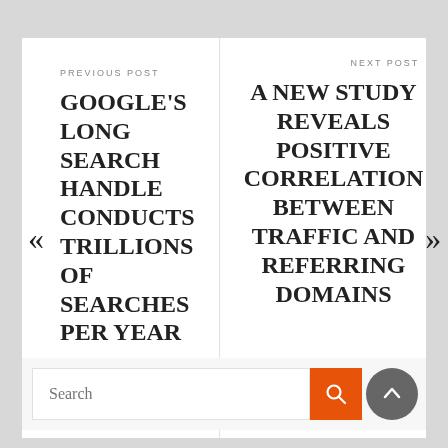PREVIOUS POST
GOOGLE'S LONG SEARCH HANDLE CONDUCTS TRILLIONS OF SEARCHES PER YEAR
NEXT POST
A NEW STUDY REVEALS POSITIVE CORRELATION BETWEEN TRAFFIC AND REFERRING DOMAINS
Search